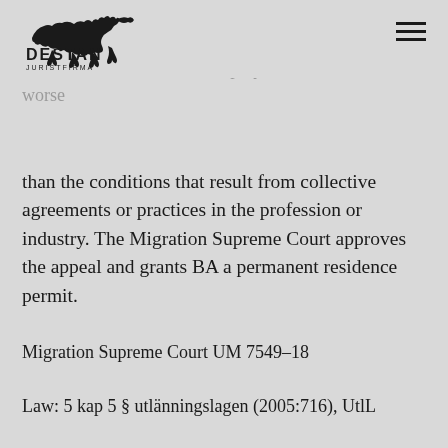DESTAN JURISTFIRMA
requirement according to Chapter 6, Section 2, first paragraph of the Aliens Act has been fulfilled and that other conditions for BA's employment have not been worse than the conditions that result from collective agreements or practices in the profession or industry. The Migration Supreme Court approves the appeal and grants BA a permanent residence permit.
Migration Supreme Court UM 7549–18
Law: 5 kap 5 § utlänningslagen (2005:716), UtlL
Keywords: Vacation, holiday allowance, Holiday pay, Migration Board, deportation, work permit